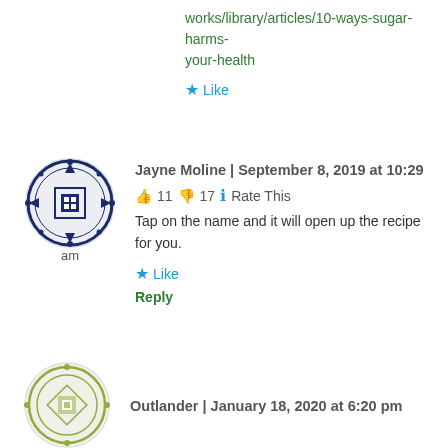works/library/articles/10-ways-sugar-harms-your-health
★ Like
[Figure (illustration): Circular avatar icon with dark navy blue geometric pattern (grid/cross design), labeled 'am' below]
Jayne Moline | September 8, 2019 at 10:29
👍 11 👎 17 ℹ Rate This
Tap on the name and it will open up the recipe for you.
★ Like
Reply
[Figure (illustration): Circular avatar icon with olive/light green geometric diamond/cross pattern]
Outlander | January 18, 2020 at 6:20 pm